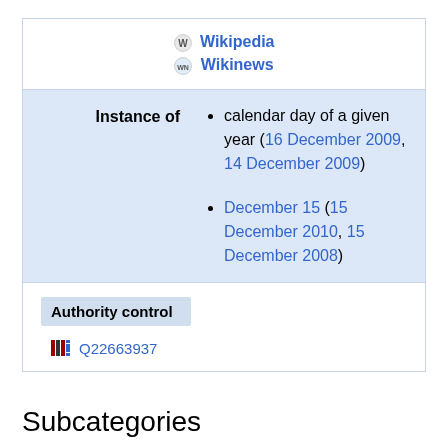Wikipedia
Wikinews
| Instance of | Values |
| --- | --- |
| Instance of | calendar day of a given year (16 December 2009, 14 December 2009)
December 15 (15 December 2010, 15 December 2008) |
Authority control
Q22663937
Subcategories